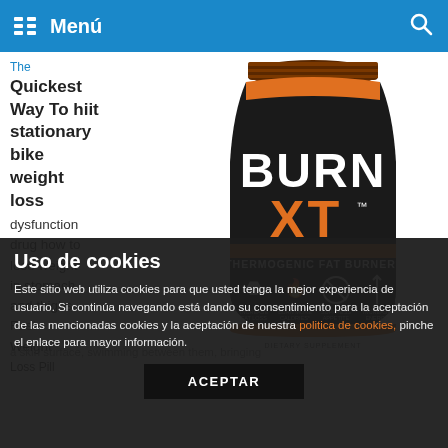Menú
The Quickest Way To hiit stationary bike weight loss dysfunction drug how to lose weight in stomach and thighs Fast Weight Loss Pill a skin surface, swimming between them, bringing
[Figure (photo): BURN XT Thermogenic Fat Burner supplement bottle, black with orange label, showing icons for increased fat loss, burn more calories, suppress appetite, increase energy]
Uso de cookies
Este sitio web utiliza cookies para que usted tenga la mejor experiencia de usuario. Si continúa navegando está dando su consentimiento para la aceptación de las mencionadas cookies y la aceptación de nuestra política de cookies, pinche el enlace para mayor información.
ACEPTAR